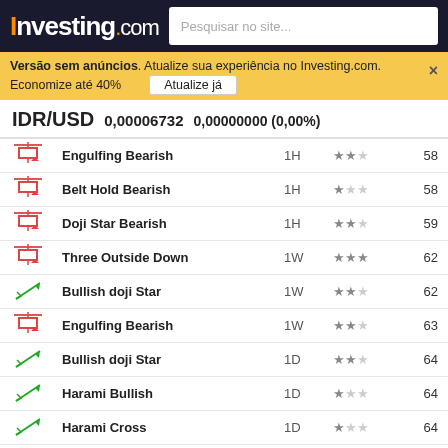Investing.com — Pesquisar no site...
Versão sem anúncios. Atualize sua experiência no Investing.com. Economize até 40% — Atualize já
IDR/USD  0,00006732  0,00000000 (0,00%)
|  | Pattern | Timeframe | Reliability | Value |
| --- | --- | --- | --- | --- |
| ↘ bearish | Engulfing Bearish | 1H | ★★☆ | 58 |
| ↘ bearish | Belt Hold Bearish | 1H | ★☆☆ | 58 |
| ↘ bearish | Doji Star Bearish | 1H | ★★☆ | 59 |
| ↘ bearish | Three Outside Down | 1W | ★★★ | 62 |
| ↗ bullish | Bullish doji Star | 1W | ★★☆ | 62 |
| ↘ bearish | Engulfing Bearish | 1W | ★★☆ | 63 |
| ↗ bullish | Bullish doji Star | 1D | ★★☆ | 64 |
| ↗ bullish | Harami Bullish | 1D | ★☆☆ | 64 |
| ↗ bullish | Harami Cross | 1D | ★☆☆ | 64 |
| ↗ bullish | Inverted Hammer | 5H | ★☆☆ | 66 |
| ↗ bullish | Harami Bullish | 1D | ★☆☆ | 67 |
| ↗ bullish | Inverted Hammer | 1D | ★☆☆ | 67 |
| ↗ bullish | Bullish Hammer | 1H | ★☆☆ | 67 |
| ↗ bullish | Belt Hold Bullish | 30 | ★☆☆ | 69 |